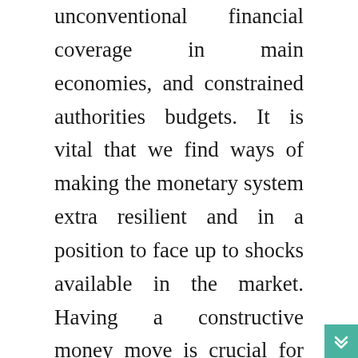unconventional financial coverage in main economies, and constrained authorities budgets. It is vital that we find ways of making the monetary system extra resilient and in a position to face up to shocks available in the market. Having a constructive money move is crucial for business survival and late funds might suffocate your corporation. Unfortunately, enterprise world is way from good and the typical waiting interval for payments on invoices is about 70 days. This may put your organization in a very difficult place. By leveraging your accounts receivables at a discount to the face value, you obtain the funds wanted to run your small business (gas, cost, truck, restore, and